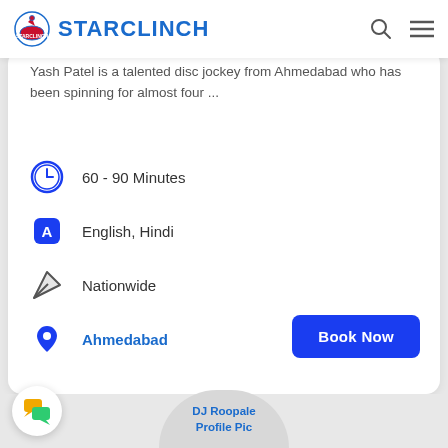STARCLINCH
Yash Patel is a talented disc jockey from Ahmedabad who has been spinning for almost four ...
60 - 90 Minutes
English, Hindi
Nationwide
Ahmedabad
[Figure (other): Book Now button - blue rounded rectangle]
[Figure (other): Chat bubble icon in circular white button]
DJ Roopale Profile Pic